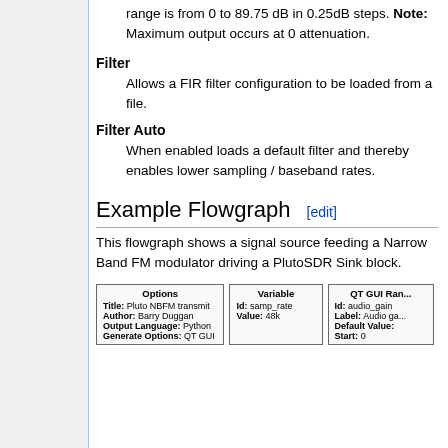range is from 0 to 89.75 dB in 0.25dB steps. Note: Maximum output occurs at 0 attenuation.
Filter
Allows a FIR filter configuration to be loaded from a file.
Filter Auto
When enabled loads a default filter and thereby enables lower sampling / baseband rates.
Example Flowgraph [edit]
This flowgraph shows a signal source feeding a Narrow Band FM modulator driving a PlutoSDR Sink block.
[Figure (screenshot): Flowgraph screenshot showing Options block (Title: Pluto NBFM transmit, Author: Barry Duggan, Output Language: Python, Generate Options: QT GUI), Variable block (Id: samp_rate, Value: 48k), and QT GUI Ran... block (Id: audio_gain, Label: Audio ga..., Default Value:..., Start: 0)]